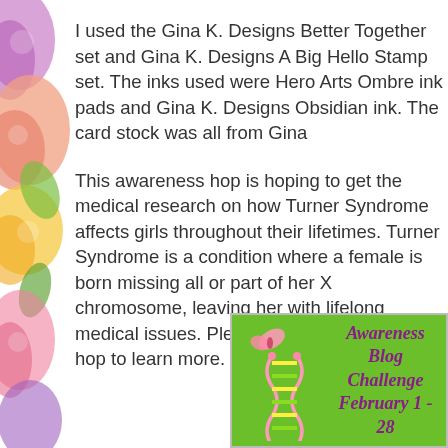[Figure (illustration): Watercolor floral/botanical decorative strip along left edge with pink, orange, yellow, and purple flowers and green leaves]
I used the Gina K. Designs Better Together set and Gina K. Designs A Big Hello Stamp set. The inks used were Hero Arts Ombre ink pads and Gina K. Designs Obsidian ink. The card stock was all from Gina
This awareness hop is hoping to get the medical research on how Turner Syndrome affects girls throughout their lifetimes. Turner Syndrome is a condition where a female is born missing all or part of her X chromosome, leaving her with lifelong medical issues. Please click above to the hop to learn more.
[Figure (illustration): Awareness Blog Challenge badge with green background, pink DNA double helix with yellow/green highlights, a small pink butterfly, and purple italic text reading 'Awareness Blog Challenge February 1 - 28']